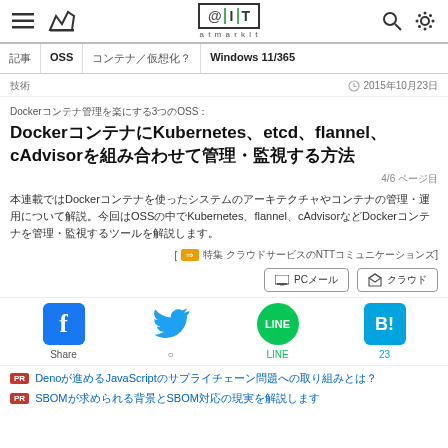@IT atmarkit — site header with navigation, search
OSS
Windows 11/365
2015年10月23日
Dockerコンテナ管理を楽にする3つのOSS：KubernetesIetcdIflanneIcAdvisorなどを使ってDockerコンテナを管理・監視する方法
4/6 ページ目
本連載ではDockerを使ったコンテナ管理について解説します。今回はDockerと組み合わせて使えるOSSをKubernetesIflanneIcAdvisorについて紹介し、コンテナ管理・監視の方法を解説します。
[リンク NTTコミュニケーションズ]
PCメール / クラウド
Share / LINE / 23